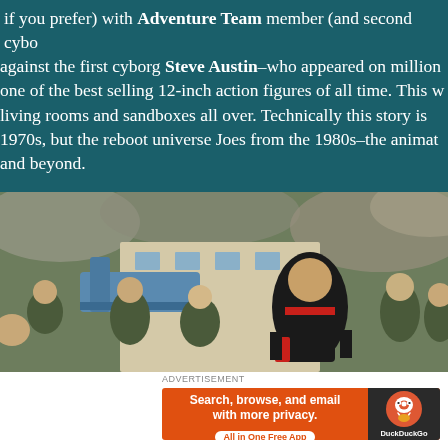if you prefer) with Adventure Team member (and second cyborg against the first cyborg Steve Austin–who appeared on millions of living rooms and sandboxes all over. Technically this story is set in the 1970s, but the reboot universe Joes from the 1980s–the animated series and beyond.
[Figure (illustration): Comic book panel showing a man in a black and red suit running forward with a group of soldiers behind him. A speech bubble reads: '...BECAUSE WE'VE GOT OURSELVES A GOOD OL' FASHIONED SNAKE WHOOPIN' TO ATTEND!']
ADVERTISEMENT
[Figure (screenshot): DuckDuckGo advertisement banner with text 'Search, browse, and email with more privacy. All in One Free App' and DuckDuckGo logo on dark background.]